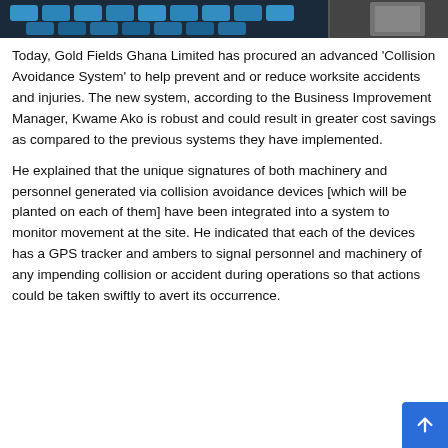[Figure (photo): Partial photo strip at top showing blue keyboard keys or industrial equipment on the left and grey/metallic object on the right]
Today, Gold Fields Ghana Limited has procured an advanced 'Collision Avoidance System' to help prevent and or reduce worksite accidents and injuries. The new system, according to the Business Improvement Manager, Kwame Ako is robust and could result in greater cost savings as compared to the previous systems they have implemented.
He explained that the unique signatures of both machinery and personnel generated via collision avoidance devices [which will be planted on each of them] have been integrated into a system to monitor movement at the site. He indicated that each of the devices has a GPS tracker and ambers to signal personnel and machinery of any impending collision or accident during operations so that actions could be taken swiftly to avert its occurrence.